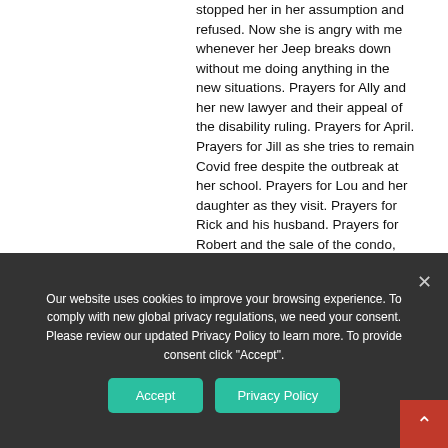stopped her in her assumption and refused. Now she is angry with me whenever her Jeep breaks down without me doing anything in the new situations. Prayers for Ally and her new lawyer and their appeal of the disability ruling. Prayers for April. Prayers for Jill as she tries to remain Covid free despite the outbreak at her school. Prayers for Lou and her daughter as they visit. Prayers for Rick and his husband. Prayers for Robert and the sale of the condo, may all go smoothly.
↩ Reply
Our website uses cookies to improve your browsing experience. To comply with new global privacy regulations, we need your consent. Please review our updated Privacy Policy to learn more. To provide consent click "Accept".